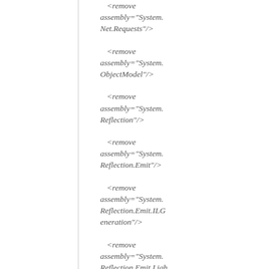<remove assembly="System.Net.Requests"/>
<remove assembly="System.ObjectModel"/>
<remove assembly="System.Reflection"/>
<remove assembly="System.Reflection.Emit"/>
<remove assembly="System.Reflection.Emit.ILGeneration"/>
<remove assembly="System.Reflection.Emit.Ligh...